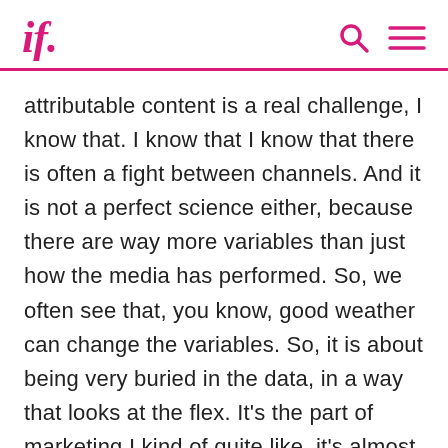if.
attributable content is a real challenge, I know that. I know that I know that there is often a fight between channels. And it is not a perfect science either, because there are way more variables than just how the media has performed. So, we often see that, you know, good weather can change the variables. So, it is about being very buried in the data, in a way that looks at the flex. It's the part of marketing I kind of quite like, it's almost like the instinctive marketing. But, you know, maybe that's me. I'm weird. Because I've been thinking back to the old days. Maybe it's my age. When fax mailers were a thing. The challenge was that